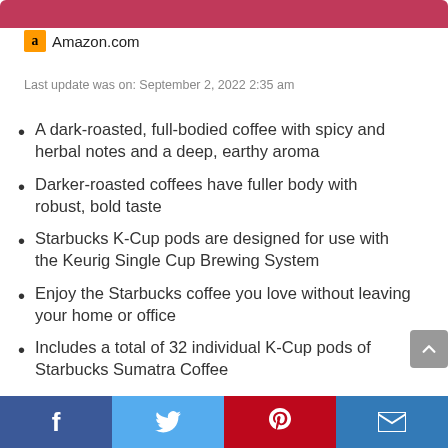[Figure (other): Red rounded button bar at top of page]
Amazon.com
Last update was on: September 2, 2022 2:35 am
A dark-roasted, full-bodied coffee with spicy and herbal notes and a deep, earthy aroma
Darker-roasted coffees have fuller body with robust, bold taste
Starbucks K-Cup pods are designed for use with the Keurig Single Cup Brewing System
Enjoy the Starbucks coffee you love without leaving your home or office
Includes a total of 32 individual K-Cup pods of Starbucks Sumatra Coffee
Facebook | Twitter | Pinterest | Email